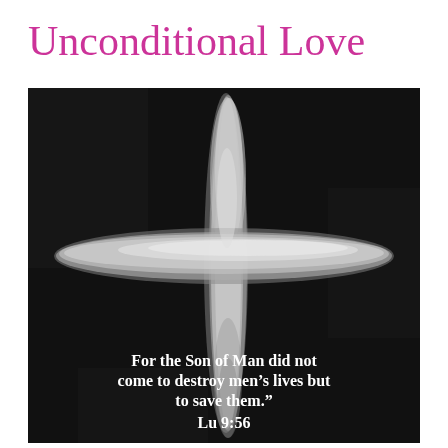Unconditional Love
[Figure (illustration): Black and white photograph/illustration of a painted cross made with rough brushstrokes on a dark background. A white painted cross dominates the image. Overlaid text at the bottom reads: 'For the Son of Man did not come to destroy men's lives but to save them." Lu 9:56']